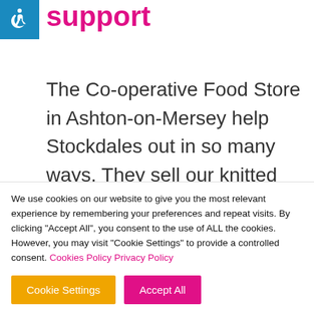[Figure (logo): Blue square with white wheelchair accessibility icon]
support
The Co-operative Food Store in Ashton-on-Mersey help Stockdales out in so many ways. They sell our knitted snowmen for us and have got involved with some of the kids' trails
We use cookies on our website to give you the most relevant experience by remembering your preferences and repeat visits. By clicking "Accept All", you consent to the use of ALL the cookies. However, you may visit "Cookie Settings" to provide a controlled consent. Cookies Policy Privacy Policy
Cookie Settings  Accept All